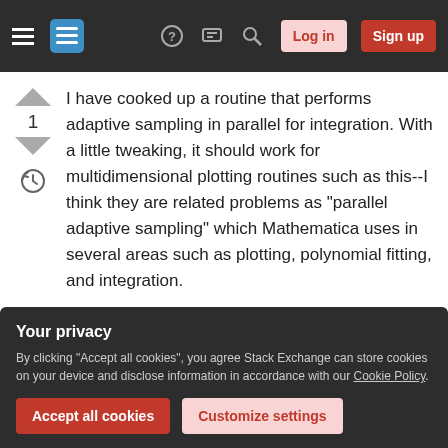Stack Exchange navigation bar with hamburger menu, logo, help, chat, search icons, Log in and Sign up buttons
I have cooked up a routine that performs adaptive sampling in parallel for integration. With a little tweaking, it should work for multidimensional plotting routines such as this--I think they are related problems as "parallel adaptive sampling" which Mathematica uses in several areas such as plotting, polynomial fitting, and integration.
My use case is very expensive integrand. The idea is to trick NIntegrate into giving yielding where it would like to integrate, but not actually doing the
Your privacy
By clicking "Accept all cookies", you agree Stack Exchange can store cookies on your device and disclose information in accordance with our Cookie Policy.
(It was made in desperation and probably is a